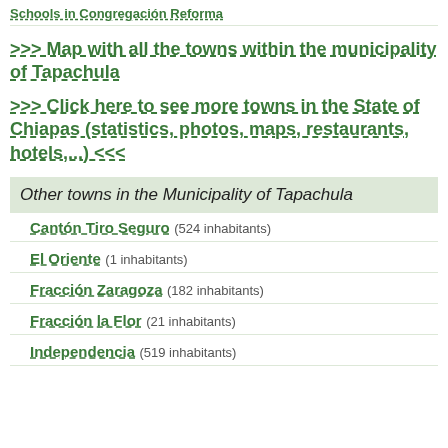Schools in Congregación Reforma
>>> Map with all the towns within the municipality of Tapachula
>>> Click here to see more towns in the State of Chiapas (statistics, photos, maps, restaurants, hotels,...) <<<
Other towns in the Municipality of Tapachula
Cantón Tiro Seguro (524 inhabitants)
El Oriente (1 inhabitants)
Fracción Zaragoza (182 inhabitants)
Fracción la Flor (21 inhabitants)
Independencia (519 inhabitants)